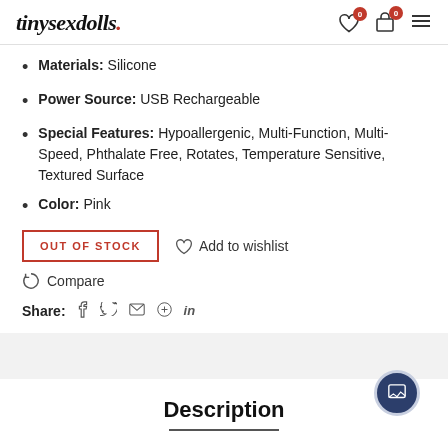tinysexdolls.
Materials: Silicone
Power Source: USB Rechargeable
Special Features: Hypoallergenic, Multi-Function, Multi-Speed, Phthalate Free, Rotates, Temperature Sensitive, Textured Surface
Color: Pink
OUT OF STOCK   ♡ Add to wishlist
Compare
Share: f  𝕏  ✉  𝗽  in
Description